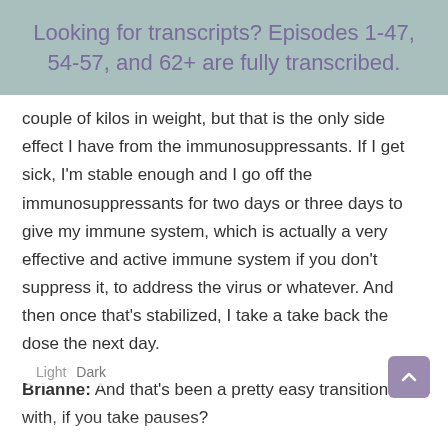Looking for transcripts? Episodes 1-47, 54-57, and 62+ are fully transcribed.
couple of kilos in weight, but that is the only side effect I have from the immunosuppressants. If I get sick, I'm stable enough and I go off the immunosuppressants for two days or three days to give my immune system, which is actually a very effective and active immune system if you don't suppress it, to address the virus or whatever. And then once that's stabilized, I take a take back the dose the next day.
Brianne: And that's been a pretty easy transition with, if you take pauses?
Michelle: Yeah, yeah. It works pretty smoothly. So I'd been through all of that process and was really ready to now run workshops and launch this business. And what happened is I had done all the mapping and the promo, and I was ready to do the marketing, and I was going to hit the button on send on the Sunday. And on the